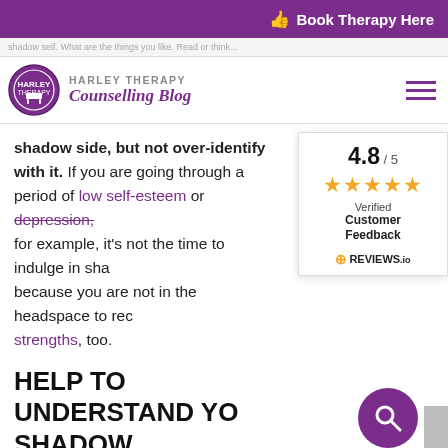Book Therapy Here
HARLEY THERAPY Counselling Blog
shadow side, but not over-identify with it. If you are going through a period of low self-esteem or depression, for example, it's not the time to indulge in shadow because you are not in the headspace to recognise your strengths, too.
[Figure (other): Verified Customer Feedback widget showing 4.8/5 rating with 4 orange stars, from REVIEWS.io]
HELP TO UNDERSTAND YOUR SHADOW
Jungian analysis is of course helpful as a route to exploring your shadow.
But really any sort of talk therapy that seeks a bigger picture of how you became the person you